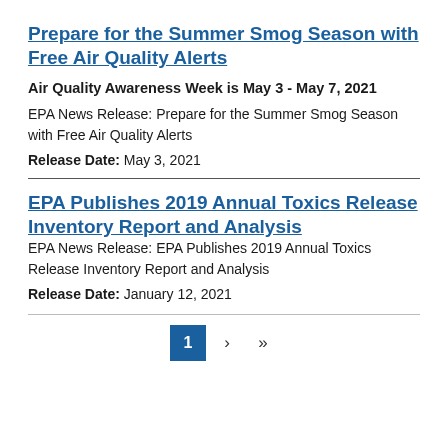Prepare for the Summer Smog Season with Free Air Quality Alerts
Air Quality Awareness Week is May 3 - May 7, 2021
EPA News Release: Prepare for the Summer Smog Season with Free Air Quality Alerts
Release Date: May 3, 2021
EPA Publishes 2019 Annual Toxics Release Inventory Report and Analysis
EPA News Release: EPA Publishes 2019 Annual Toxics Release Inventory Report and Analysis
Release Date: January 12, 2021
1 › »